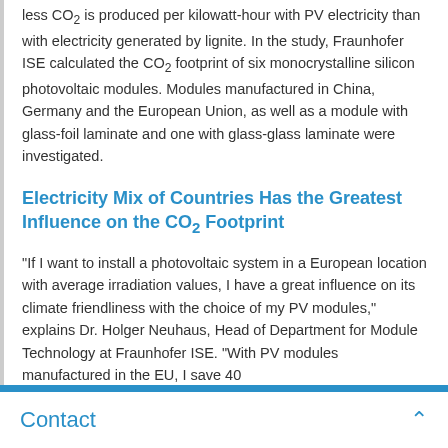less CO2 is produced per kilowatt-hour with PV electricity than with electricity generated by lignite. In the study, Fraunhofer ISE calculated the CO2 footprint of six monocrystalline silicon photovoltaic modules. Modules manufactured in China, Germany and the European Union, as well as a module with glass-foil laminate and one with glass-glass laminate were investigated.
Electricity Mix of Countries Has the Greatest Influence on the CO2 Footprint
"If I want to install a photovoltaic system in a European location with average irradiation values, I have a great influence on its climate friendliness with the choice of my PV modules," explains Dr. Holger Neuhaus, Head of Department for Module Technology at Fraunhofer ISE. "With PV modules manufactured in the EU, I save 40
Contact